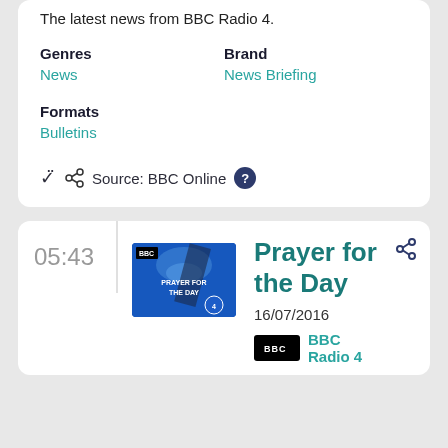The latest news from BBC Radio 4.
Genres
Brand
News
News Briefing
Formats
Bulletins
Source: BBC Online ?
05:43
[Figure (photo): BBC Prayer for the Day programme thumbnail - blue background with chandelier and BBC Radio 4 logo]
Prayer for the Day
16/07/2016
BBC Radio 4